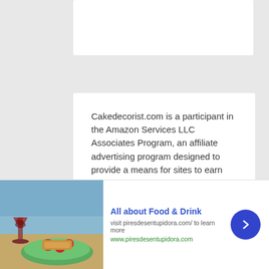Cakedecorist.com is a participant in the Amazon Services LLC Associates Program, an affiliate advertising program designed to provide a means for sites to earn advertising fees by advertising and linking to amazon.com. Amazon, the Amazon logo, AmazonSupply, and the AmazonSupply logo are trademarks of Amazon.com, Inc. or its affiliates.
[Figure (photo): Advertisement banner showing food and drink photo with wine glass and bruschetta on beach background. Ad for piresdesentupidora.com titled 'All about Food & Drink'.]